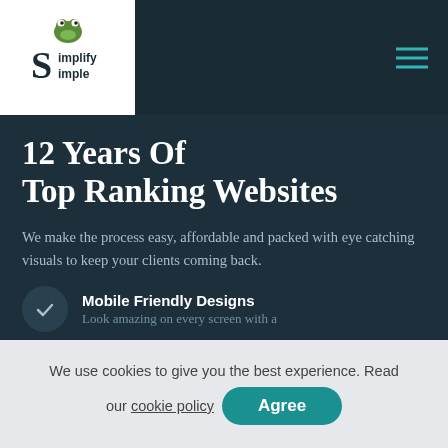[Figure (logo): Simplify Simple logo with frog mascot on white background, text reads 'Simplify Simple']
12 Years Of Top Ranking Websites
We make the process easy, affordable and packed with eye catching visuals to keep your clients coming back.
Mobile Friendly Designs
Look amazing on every screen with a
We use cookies to give you the best experience. Read our cookie policy
Agree